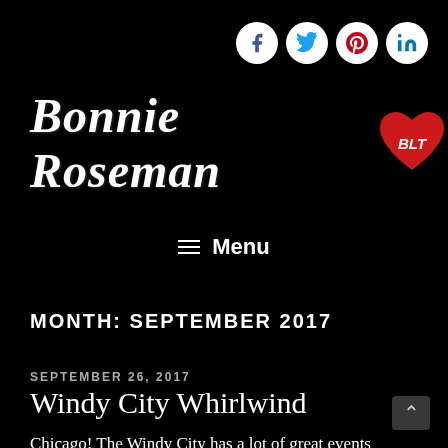[Figure (screenshot): Social media icons (Facebook, Twitter, Pinterest, LinkedIn) in white circles on black background, top right]
Bonnie Roseman BLT
≡ Menu
MONTH: SEPTEMBER 2017
SEPTEMBER 26, 2017
Windy City Whirlwind
Chicago! The Windy City has a lot of great events blowing in around this month besides the usual tourist attractions: strolling down Michigan Avenue, bike-riding